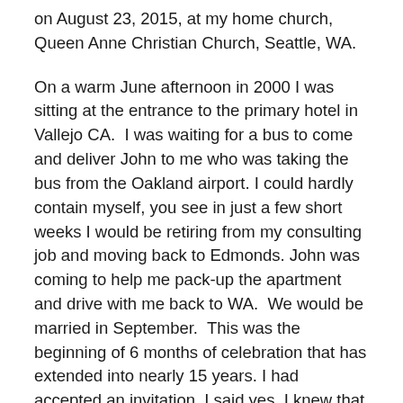on August 23, 2015, at my home church, Queen Anne Christian Church, Seattle, WA.
On a warm June afternoon in 2000 I was sitting at the entrance to the primary hotel in Vallejo CA. I was waiting for a bus to come and deliver John to me who was taking the bus from the Oakland airport. I could hardly contain myself, you see in just a few short weeks I would be retiring from my consulting job and moving back to Edmonds. John was coming to help me pack-up the apartment and drive with me back to WA. We would be married in September. This was the beginning of 6 months of celebration that has extended into nearly 15 years. I had accepted an invitation, I said yes. I knew that in that acceptance I would now be living a new life and one that would require me to make the choice to change from a life of taking care of only me to taking care of someone else. Now that's a huge change for someone who was 53 and never married. But it was a choice that I